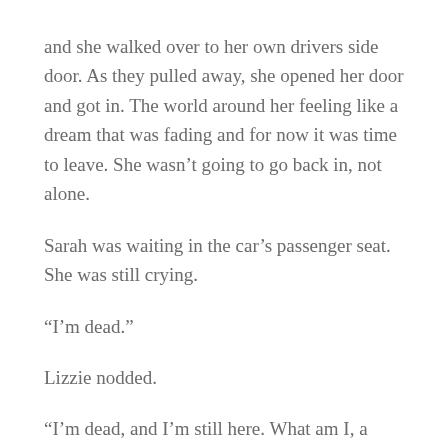and she walked over to her own drivers side door. As they pulled away, she opened her door and got in. The world around her feeling like a dream that was fading and for now it was time to leave. She wasn't going to go back in, not alone.
Sarah was waiting in the car's passenger seat. She was still crying.
“I’m dead.”
Lizzie nodded.
“I’m dead, and I’m still here. What am I, a ghost?”
Lizzie shrugged. What did she say to her dead friend. Lizzie sure as hell didn’t have any of the